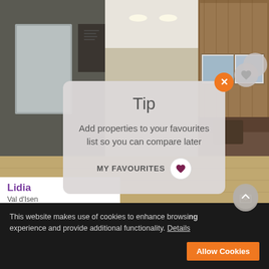[Figure (screenshot): Website screenshot showing a property listing page with an interior room photo (kitchen/living area with wooden cabinets and modern appliances), a tooltip/modal overlay with a 'Tip' message, and a cookie consent bar at the bottom.]
Lidia
Val d'Isen
Sleeps 4
3 bedro
Welcom
Tip
Add properties to your favourites list so you can compare later
MY FAVOURITES ♥
This website makes use of cookies to enhance browsing experience and provide additional functionality. Details
Allow Cookies